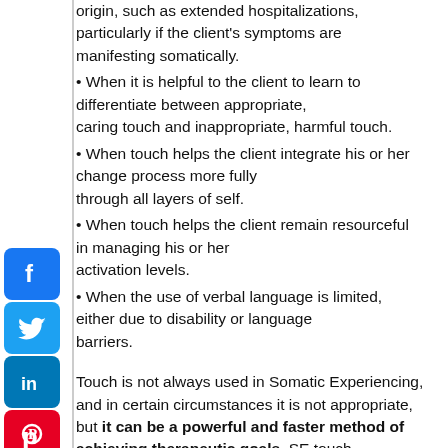origin, such as extended hospitalizations, particularly if the client's symptoms are manifesting somatically.
When it is helpful to the client to learn to differentiate between appropriate, caring touch and inappropriate, harmful touch.
When touch helps the client integrate his or her change process more fully through all layers of self.
When touch helps the client remain resourceful in managing his or her activation levels.
When the use of verbal language is limited, either due to disability or language barriers.
Touch is not always used in Somatic Experiencing, and in certain circumstances it is not appropriate, but it can be a powerful and faster method of achieving therapeutic goals. SE touch practitioners at Life Care Wellness currently